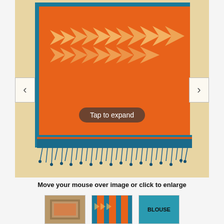[Figure (photo): Orange cotton saree with blue border and blue fringe tassels at the bottom. The saree is folded showing a row of woven arrow/chevron motifs in gold/yellow on the upper portion. The saree is laid flat on a beige/tan surface. Navigation arrows on left and right. A 'Tap to expand' button overlaid at the bottom center.]
Move your mouse over image or click to enlarge
[Figure (photo): Thumbnail 1: Brown/tan color, appears to show packaging or outer cover of saree product.]
[Figure (photo): Thumbnail 2: Orange and blue striped/woven pattern of saree with arrow motifs visible.]
[Figure (photo): Thumbnail 3: Teal/blue fabric with text 'BLOUSE' printed on it.]